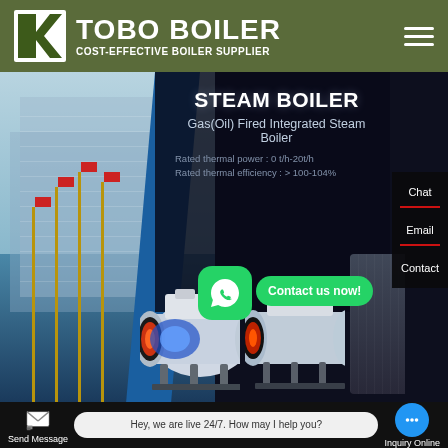TOBO BOILER — COST-EFFECTIVE BOILER SUPPLIER
[Figure (screenshot): Website screenshot showing TOBO BOILER homepage with steam boiler product hero image, gas/oil fired integrated steam boiler with rated thermal power 0 t/h-20t/h and rated thermal efficiency >100-104%, two boiler 3D renders, contact sidebar with Chat and Email options, WhatsApp contact button, and partial text 'vertical steam boiler feed pumps' with live chat bar at bottom showing 'Hey, we are live 24/7. How may I help you?', Send Message, and Inquiry Online buttons]